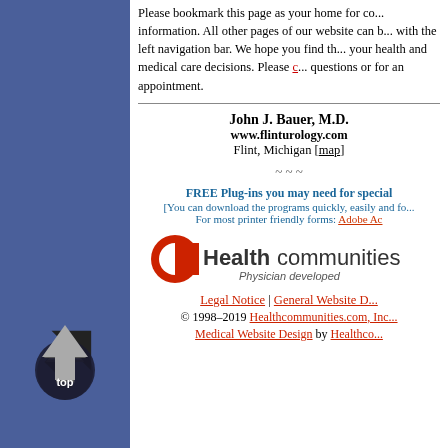Please bookmark this page as your home for co... information. All other pages of our website can b... with the left navigation bar. We hope you find th... your health and medical care decisions. Please c... questions or for an appointment.
John J. Bauer, M.D.
www.flinturology.com
Flint, Michigan [map]
~ ~ ~
FREE Plug-ins you may need for special...
[You can download the programs quickly, easily and fo...
For most printer friendly forms: Adobe Ac...
[Figure (logo): Healthcommunities logo with red C icon and text 'Physician developed']
Legal Notice | General Website D...
© 1998–2019 Healthcommunities.com, Inc...
Medical Website Design by Healthco...